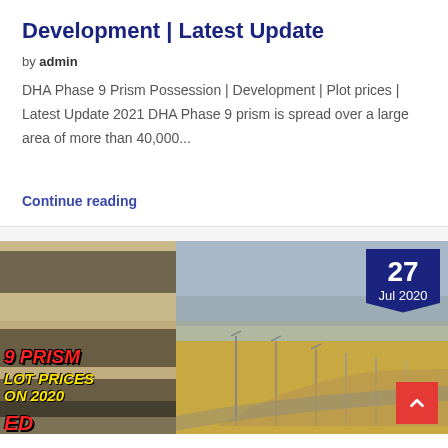Development | Latest Update
by admin
DHA Phase 9 Prism Possession | Development | Plot prices | Latest Update 2021 DHA Phase 9 prism is spread over a large area of more than 40,000...
Continue reading
[Figure (photo): Real estate promotional image showing a partially visible text overlay on the left ('9 PRISM', 'LOT PRICES', 'ON 2020', 'ED') and an aerial landscape photo of a development site on the right, with a dark blue date badge showing '27 Jul 2020' and a red scroll-to-top button.]